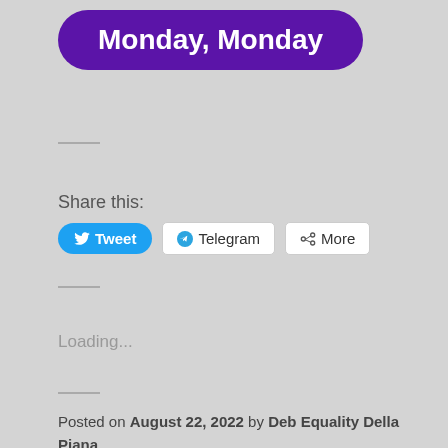Monday, Monday
Share this:
[Figure (other): Social share buttons: Tweet (Twitter), Telegram, More]
Loading...
Posted on August 22, 2022 by Deb Equality Della Piana
Posted in Acoustic Music, Blues-Rock, Country, Country Rock, Electric Blues, Extended Play, Folk Music, Folk-Rock, In The Spotlight, Motown, Power Pop, R & B, REGGAE, ROCK, Rock and Roll, Soul Music, Various Artists